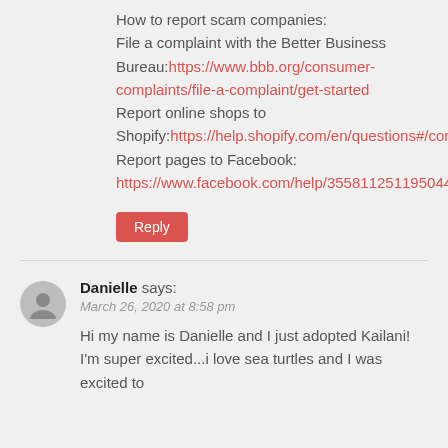How to report scam companies:
File a complaint with the Better Business Bureau:https://www.bbb.org/consumer-complaints/file-a-complaint/get-started
Report online shops to Shopify:https://help.shopify.com/en/questions#/contact/email
Report pages to Facebook:
https://www.facebook.com/help/355811251195044
Reply
Danielle says:
March 26, 2020 at 8:58 pm
Hi my name is Danielle and I just adopted Kailani! I'm super excited...i love sea turtles and I was excited to